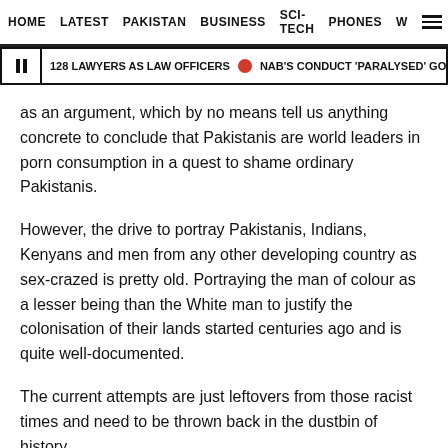HOME   LATEST   PAKISTAN   BUSINESS   SCI-TECH   PHONES   W ☰
|| 128 LAWYERS AS LAW OFFICERS 🔴 NAB'S CONDUCT 'PARALYSED' GOVT MACHINERY
as an argument, which by no means tell us anything concrete to conclude that Pakistanis are world leaders in porn consumption in a quest to shame ordinary Pakistanis.
However, the drive to portray Pakistanis, Indians, Kenyans and men from any other developing country as sex-crazed is pretty old. Portraying the man of colour as a lesser being than the White man to justify the colonisation of their lands started centuries ago and is quite well-documented.
The current attempts are just leftovers from those racist times and need to be thrown back in the dustbin of history.
Follow Josh on Twitter @JShahryar